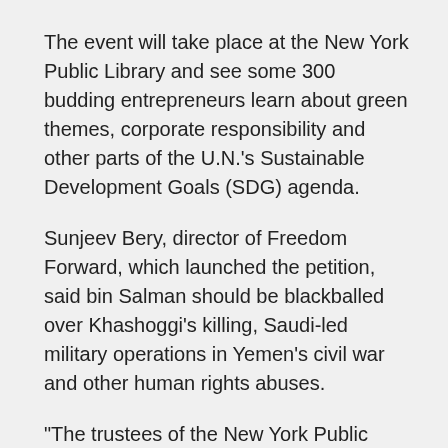The event will take place at the New York Public Library and see some 300 budding entrepreneurs learn about green themes, corporate responsibility and other parts of the U.N.'s Sustainable Development Goals (SDG) agenda.
Sunjeev Bery, director of Freedom Forward, which launched the petition, said bin Salman should be blackballed over Khashoggi's killing, Saudi-led military operations in Yemen's civil war and other human rights abuses.
“The trustees of the New York Public Library should not allow a brutal Saudi dictator to use their space for a propaganda event. Thousands of people are now demanding that this bogus Saudi event be canceled,” Bery told IPS.
“Many Saudi citizens are imprisoned or executed for